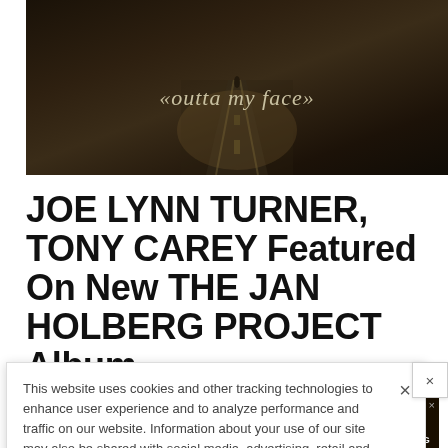[Figure (photo): Dark moody photo of a road at night with a figure in the distance. Text overlay reads «outta my face» in italic serif font.]
JOE LYNN TURNER, TONY CAREY Featured On New THE JAN HOLBERG PROJECT Album
This website uses cookies and other tracking technologies to enhance user experience and to analyze performance and traffic on our website. Information about your use of our site may also be shared with social media, advertising, retail and analytics providers and partners. Privacy Policy
[Figure (advertisement): Ad banner for At The Gates concert. AUGUST 29 THE FILLMORE SILVER SPRING]